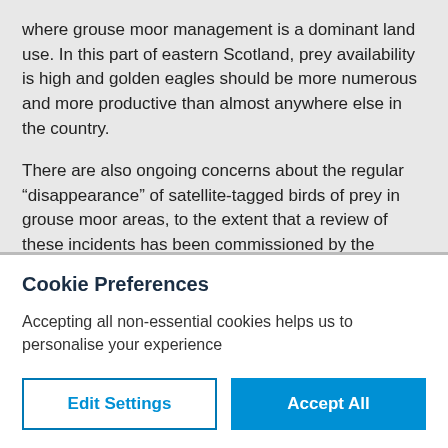where grouse moor management is a dominant land use. In this part of eastern Scotland, prey availability is high and golden eagles should be more numerous and more productive than almost anywhere else in the country.

There are also ongoing concerns about the regular "disappearance" of satellite-tagged birds of prey in grouse moor areas, to the extent that a review of these incidents has been commissioned by the Cabinet
Cookie Preferences
Accepting all non-essential cookies helps us to personalise your experience
Edit Settings
Accept All